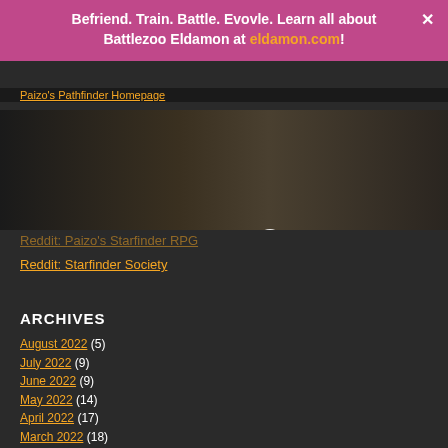Befriend. Train. Battle. Evovle. Learn all about Battlezoo Eldamon at eldamon.com!
Paizo's Pathfinder Homepage
[Figure (logo): Roll for Combat logo with dice icon on dark background with navigation hamburger menu and search icon]
Reddit: Paizo's Starfinder RPG
Reddit: Starfinder Society
ARCHIVES
August 2022 (5)
July 2022 (9)
June 2022 (9)
May 2022 (14)
April 2022 (17)
March 2022 (18)
February 2022 (16)
January 2022 (18)